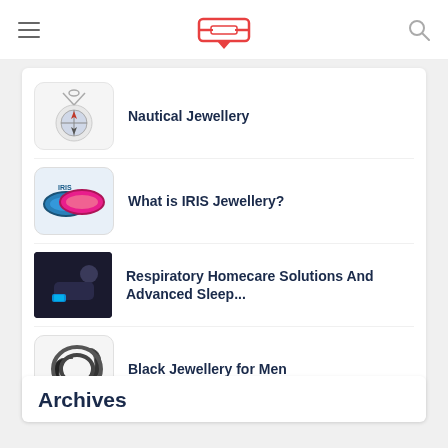Navigation bar with hamburger menu, logo, and search icon
Nautical Jewellery
What is IRIS Jewellery?
Respiratory Homecare Solutions And Advanced Sleep...
Black Jewellery for Men
Archives